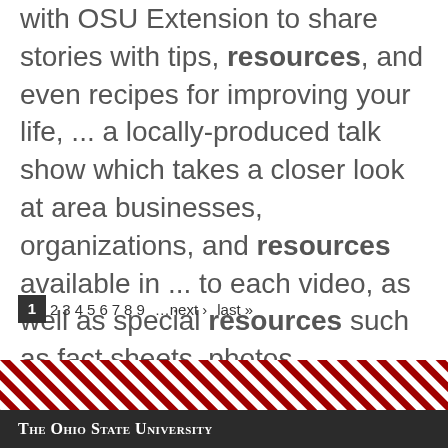with OSU Extension to share stories with tips, resources, and even recipes for improving your life, ... a locally-produced talk show which takes a closer look at area businesses, organizations, and resources available in ... to each video, as well as special resources such as fact sheets, photos, connections with CFAES ...
1 2 3 4 5 6 7 8 9 …next › last »
[Figure (other): Diagonal red and white stripe decorative band]
The Ohio State University